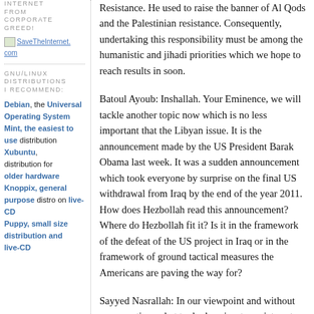INTERNET FROM CORPORATE GREED!
[Figure (other): SaveTheInternet.com image/logo link]
GNU/LINUX DISTRIBUTIONS I RECOMMEND:
Debian, the Universal Operating System
Mint, the easiest to use distribution
Xubuntu, distribution for older hardware
Knoppix, general purpose distro on live-CD
Puppy, small size distribution and live-CD
Resistance. He used to raise the banner of Al Qods and the Palestinian resistance. Consequently, undertaking this responsibility must be among the humanistic and jihadi priorities which we hope to reach results in soon.
Batoul Ayoub: Inshallah. Your Eminence, we will tackle another topic now which is no less important that the Libyan issue. It is the announcement made by the US President Barak Obama last week. It was a sudden announcement which took everyone by surprise on the final US withdrawal from Iraq by the end of the year 2011. How does Hezbollah read this announcement? Where do Hezbollah fit it? Is it in the framework of the defeat of the US project in Iraq or in the framework of ground tactical measures the Americans are paving the way for?
Sayyed Nasrallah: In our viewpoint and without exaggeration, what took place is a true victory to the Iraqi people, the Iraqi resistance and the